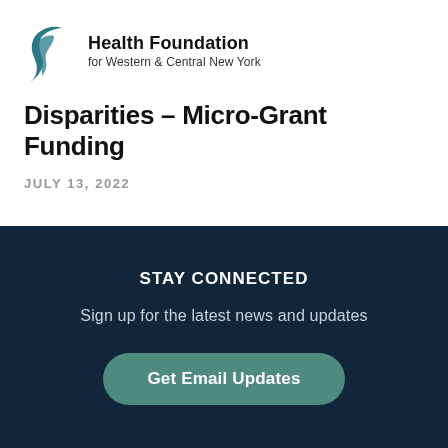[Figure (logo): Health Foundation for Western & Central New York logo with teal swirl graphic and bold text]
Disparities – Micro-Grant Funding
JULY 13, 2022
STAY CONNECTED
Sign up for the latest news and updates
Get Email Updates